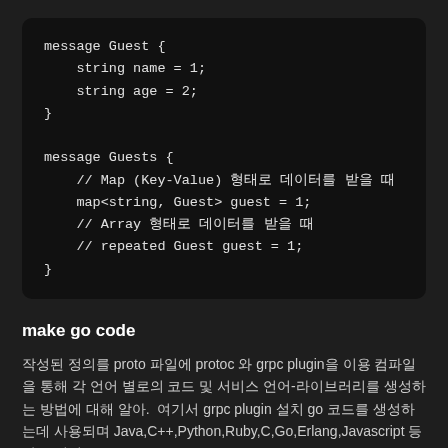[Figure (other): Code block showing protobuf message definitions for Guest and Guests messages with Korean comments]
make go code
작성된 정의를 proto 파일에 protoc 와 grpc plugin을 이용 컴파일을 통해 각 언어 별로의 코드 및 서비스 언어-라이브러리를 생성하는 방법에 대해 알아.  여기서 grpc plugin 설치 go 코드를 생성하는데 사용되며 Java,C++,Python,Ruby,C,Go,Erlang,Javascript 등 많은 언어를 위한 코드를 생성합니다.